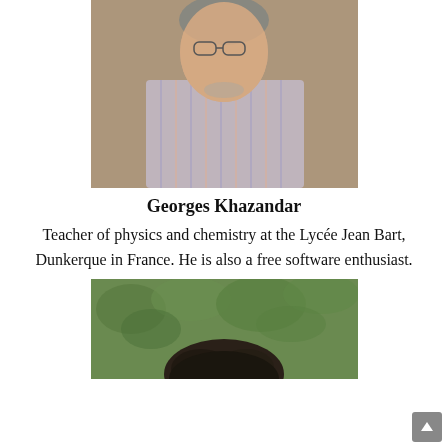[Figure (photo): Portrait photo of Georges Khazandar, a middle-aged man wearing a striped shirt, photographed against a wooden background.]
Georges Khazandar
Teacher of physics and chemistry at the Lycée Jean Bart, Dunkerque in France. He is also a free software enthusiast.
[Figure (photo): Top of a person's head with dark curly hair, photographed outdoors against green foliage background.]